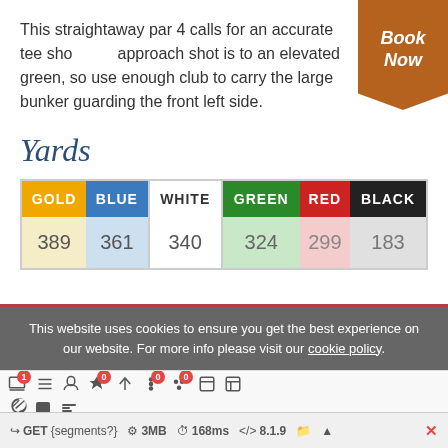This straightaway par 4 calls for an accurate tee shot. The approach shot is to an elevated green, so use enough club to carry the large bunker guarding the front left side.
Yards
| GOLD | BLUE | WHITE | GREEN | RED | BLACK |
| --- | --- | --- | --- | --- | --- |
| 389 | 361 | 340 | 324 | 299 | 183 |
This website uses cookies to ensure you get the best experience on our website. For more info please visit our cookie policy.
GET {segments?}    3MB    168ms    8.1.9